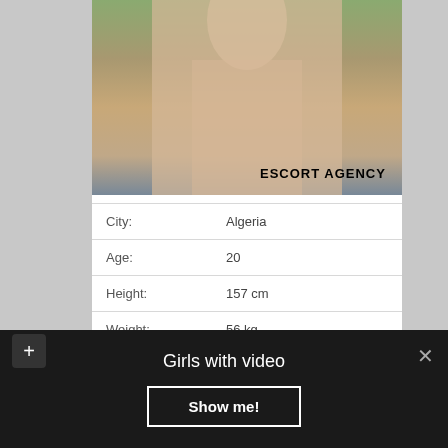[Figure (photo): Partial body photo of a person outdoors near a pool with greenery background, with 'ESCORT AGENCY' text overlay in bold black]
| City: | Algeria |
| Age: | 20 |
| Height: | 157 cm |
| Weight: | 56 kg |
| Availability: | 11:00 - 20:00 |
Girls with video
Show me!